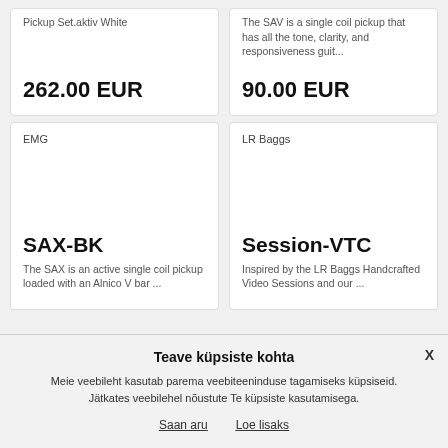Pickup Set.aktiv White
The SAV is a single coil pickup that has all the tone, clarity, and responsiveness guit...
262.00 EUR
90.00 EUR
EMG
LR Baggs
SAX-BK
Session-VTC
The SAX is an active single coil pickup loaded with an Alnico V bar ...
Inspired by the LR Baggs Handcrafted Video Sessions and our ...
Teave küpsiste kohta
Meie veebileht kasutab parema veebiteeninduse tagamiseks küpsiseid. Jätkates veebilehel nõustute Te küpsiste kasutamisega.
Saan aru
Loe lisaks